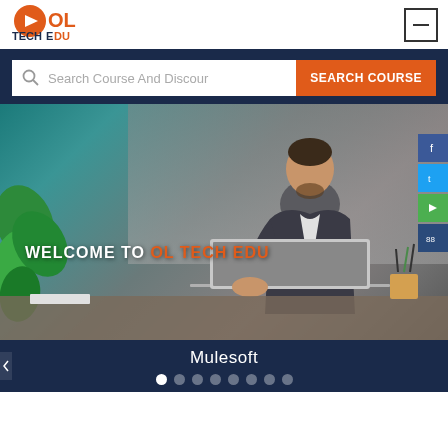[Figure (logo): OL Tech Edu logo with orange circle containing play button, orange OL text, and TECHEDU text in dark blue and orange]
[Figure (screenshot): Website screenshot showing OL Tech Edu e-learning platform with search bar, hero banner with man at laptop, and Mulesoft course carousel]
Search Course And Discour
SEARCH COURSE
WELCOME TO OL TECH EDU
Mulesoft